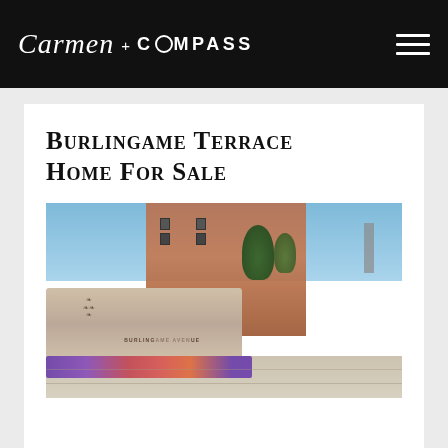Carmen + COMPASS
Burlingame Terrace Home For Sale
[Figure (photo): Street-level photo of Burlingame Avenue entrance sign/monument, with flowers, trees, brick building in background, clear sky, and pedestrian pavement.]